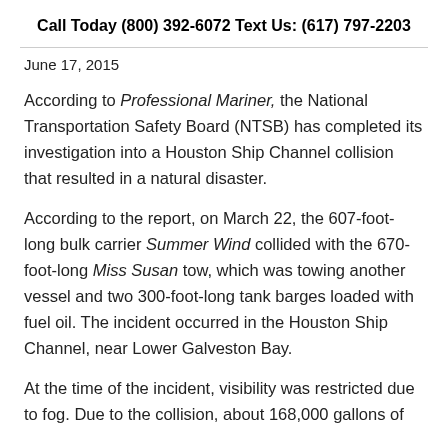Call Today (800) 392-6072
Text Us: (617) 797-2203
June 17, 2015
According to Professional Mariner, the National Transportation Safety Board (NTSB) has completed its investigation into a Houston Ship Channel collision that resulted in a natural disaster.
According to the report, on March 22, the 607-foot-long bulk carrier Summer Wind collided with the 670-foot-long Miss Susan tow, which was towing another vessel and two 300-foot-long tank barges loaded with fuel oil. The incident occurred in the Houston Ship Channel, near Lower Galveston Bay.
At the time of the incident, visibility was restricted due to fog. Due to the collision, about 168,000 gallons of